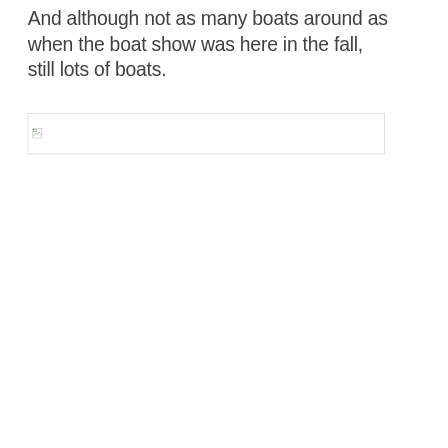And although not as many boats around as when the boat show was here in the fall, still lots of boats.
[Figure (photo): Broken image placeholder (image failed to load) — horizontal rectangle with broken image icon]
[Figure (photo): Broken image placeholder (image failed to load) — horizontal rectangle with broken image icon]